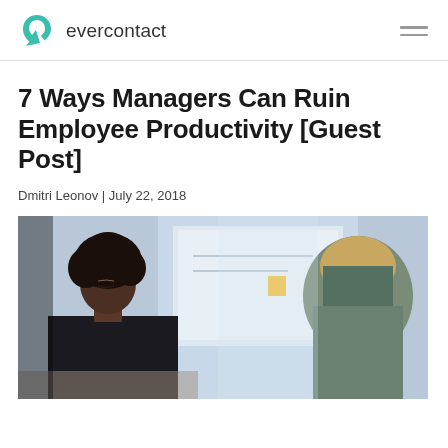evercontact
7 Ways Managers Can Ruin Employee Productivity [Guest Post]
Dmitri Leonov | July 22, 2018
[Figure (photo): Two women in an office meeting setting, one Black woman with natural hair looking down, one blonde woman with back to camera, whiteboard visible in background]